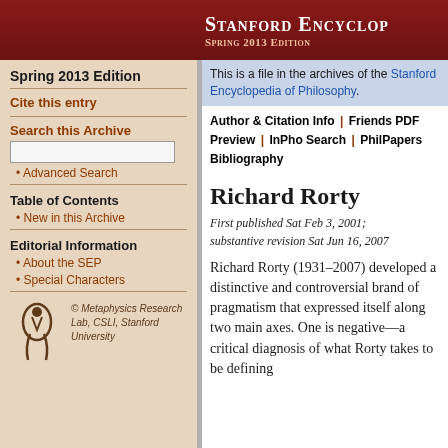Stanford Encyclopedia of Philosophy — Spring 2013 Edition
Spring 2013 Edition
Cite this entry
Search this Archive
Advanced Search
Table of Contents
New in this Archive
Editorial Information
About the SEP
Special Characters
© Metaphysics Research Lab, CSLI, Stanford University
This is a file in the archives of the Stanford Encyclopedia of Philosophy.
Author & Citation Info | Friends PDF Preview | InPho Search | PhilPapers Bibliography
Richard Rorty
First published Sat Feb 3, 2001; substantive revision Sat Jun 16, 2007
Richard Rorty (1931–2007) developed a distinctive and controversial brand of pragmatism that expressed itself along two main axes. One is negative—a critical diagnosis of what Rorty takes to be defining